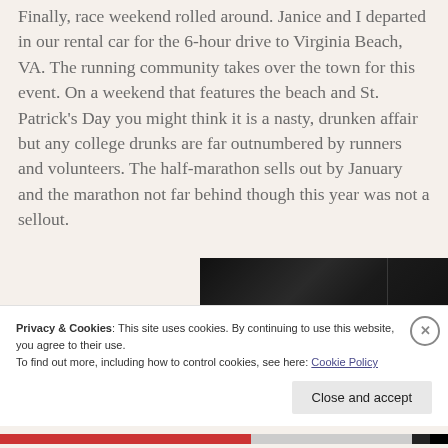Finally, race weekend rolled around. Janice and I departed in our rental car for the 6-hour drive to Virginia Beach, VA. The running community takes over the town for this event. On a weekend that features the beach and St. Patrick's Day you might think it is a nasty, drunken affair but any college drunks are far outnumbered by runners and volunteers. The half-marathon sells out by January and the marathon not far behind though this year was not a sellout.
[Figure (photo): Dark photograph, likely showing a car interior or dark surface, partially visible on the right side of the page]
Privacy & Cookies: This site uses cookies. By continuing to use this website, you agree to their use.
To find out more, including how to control cookies, see here: Cookie Policy
Close and accept